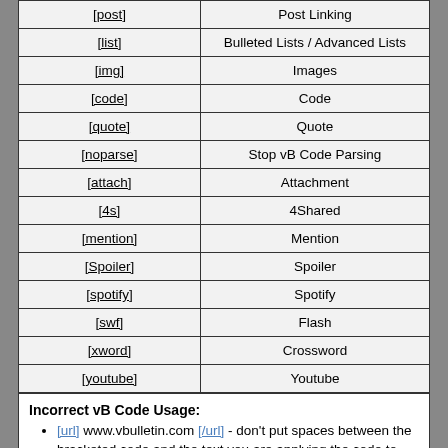| Tag | Description |
| --- | --- |
| [post] | Post Linking |
| [list] | Bulleted Lists / Advanced Lists |
| [img] | Images |
| [code] | Code |
| [quote] | Quote |
| [noparse] | Stop vB Code Parsing |
| [attach] | Attachment |
| [4s] | 4Shared |
| [mention] | Mention |
| [Spoiler] | Spoiler |
| [spotify] | Spotify |
| [swf] | Flash |
| [xword] | Crossword |
| [youtube] | Youtube |
Incorrect vB Code Usage:
[url] www.vbulletin.com [/url] - don't put spaces between the bracketed code and the text you are applying the code to.